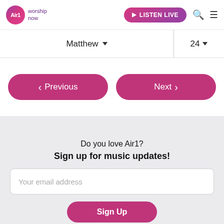Air1 worship now | LISTEN LIVE
Matthew ▼   24 ▼
‹ Previous   Next ›
Do you love Air1?
Sign up for music updates!
Your email address
Sign Up